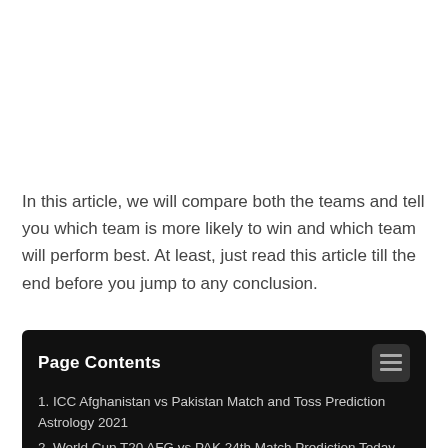In this article, we will compare both the teams and tell you which team is more likely to win and which team will perform best. At least, just read this article till the end before you jump to any conclusion.
Page Contents
1. ICC Afghanistan vs Pakistan Match and Toss Prediction Astrology 2021
2. World Cup T20 AFG vs PAK 24th Match Prediction Today Win Tips 2021